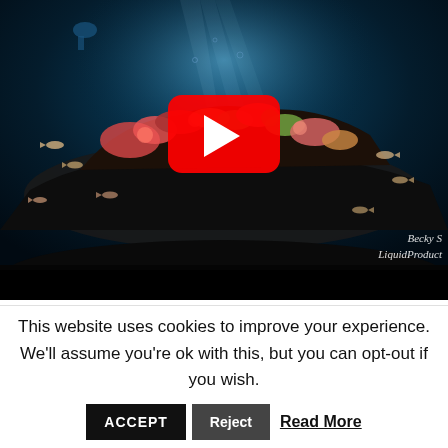[Figure (screenshot): YouTube video thumbnail showing an underwater shipwreck scene with colorful coral, fish, and a play button overlay. Watermark reads 'Becky S' and 'LiquidProduct' in the bottom right corner.]
This website uses cookies to improve your experience. We'll assume you're ok with this, but you can opt-out if you wish. ACCEPT Reject Read More